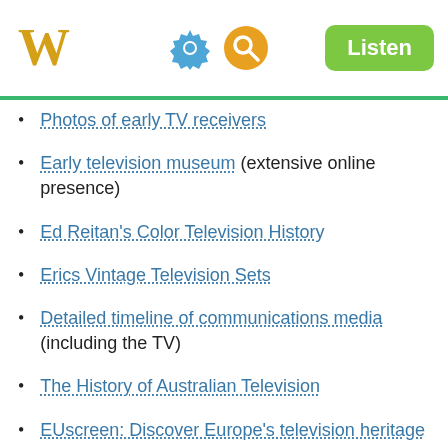W [settings] [search] Listen
Photos of early TV receivers
Early television museum (extensive online presence)
Ed Reitan's Color Television History
Erics Vintage Television Sets
Detailed timeline of communications media (including the TV)
The History of Australian Television
EUscreen: Discover Europe's television heritage